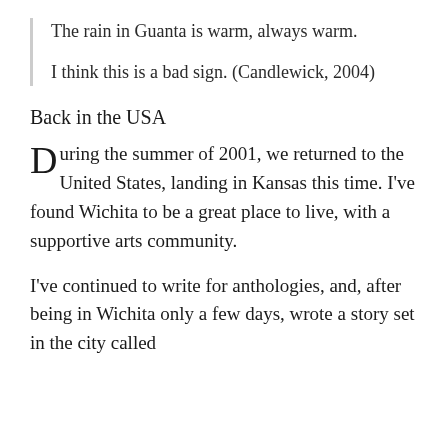The rain in Guanta is warm, always warm.
I think this is a bad sign. (Candlewick, 2004)
Back in the USA
During the summer of 2001, we returned to the United States, landing in Kansas this time. I've found Wichita to be a great place to live, with a supportive arts community.
I've continued to write for anthologies, and, after being in Wichita only a few days, wrote a story set in the city called